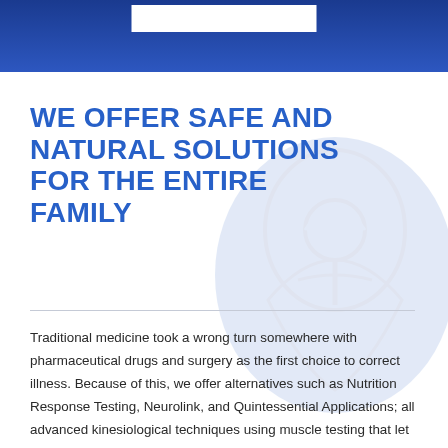WE OFFER SAFE AND NATURAL SOLUTIONS FOR THE ENTIRE FAMILY
Traditional medicine took a wrong turn somewhere with pharmaceutical drugs and surgery as the first choice to correct illness. Because of this, we offer alternatives such as Nutrition Response Testing, Neurolink, and Quintessential Applications; all advanced kinesiological techniques using muscle testing that let the body heal from within itself to restore health.